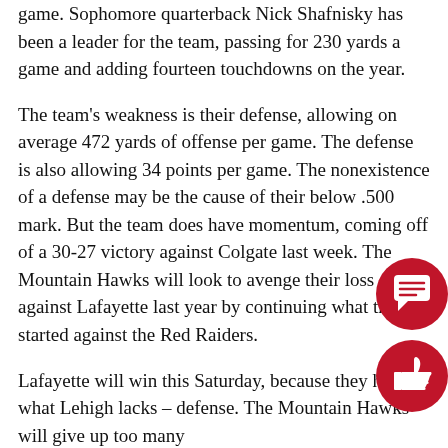game. Sophomore quarterback Nick Shafnisky has been a leader for the team, passing for 230 yards a game and adding fourteen touchdowns on the year.
The team's weakness is their defense, allowing on average 472 yards of offense per game. The defense is also allowing 34 points per game. The nonexistence of a defense may be the cause of their below .500 mark. But the team does have momentum, coming off of a 30-27 victory against Colgate last week. The Mountain Hawks will look to avenge their loss against Lafayette last year by continuing what they started against the Red Raiders.
Lafayette will win this Saturday, because they have what Lehigh lacks – defense. The Mountain Hawks will give up too many
points to an offense led by Ross Scheuerman on the ground. The Lafayette defense will also find a way to stop Shafnisky and the passing attack. Lafayette still must concentrate its
focus on stopping the run game. But if they continue to control the game with their third down defense, they should give the offense